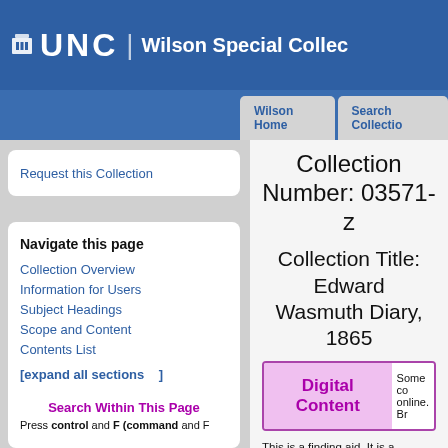UNC | Wilson Special Collections
Wilson Home | Search Collections
Request this Collection
Navigate this page
Collection Overview
Information for Users
Subject Headings
Scope and Content
Contents List
[expand all sections    ]
[collapse all sections    ]
Collection Number: 03571-z
Collection Title: Edward Wasmuth Diary, 1865
Digital Content
Some co online. Br
This is a finding aid. It is a description of archival material held in the Wilson Library at the University of North Carolina at Chapel Hill. Unless otherwise noted, the materials described below are
Search Within This Page
Press control and F (command and F